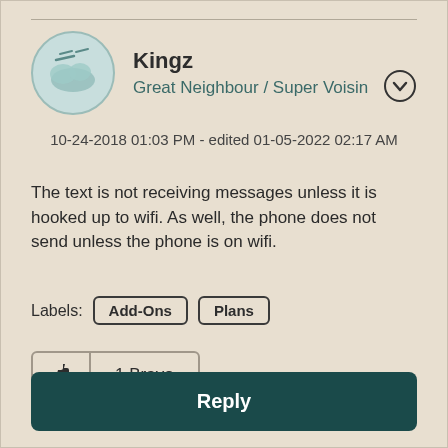Kingz
Great Neighbour / Super Voisin
10-24-2018 01:03 PM - edited 01-05-2022 02:17 AM
The text is not receiving messages unless it is hooked up to wifi. As well, the phone does not send unless the phone is on wifi.
Labels: Add-Ons  Plans
1 Bravo
Reply